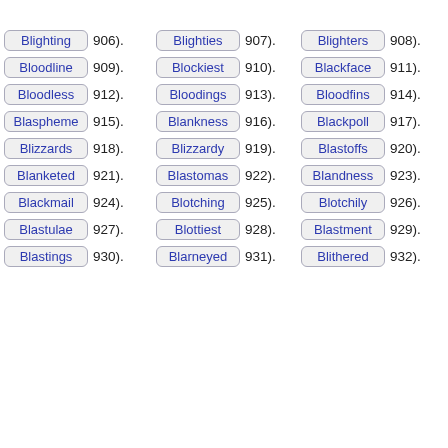Blighting 906).
Blighties 907).
Blighters 908).
Bloodline 909).
Blockiest 910).
Blackface 911).
Bloodless 912).
Bloodings 913).
Bloodfins 914).
Blaspheme 915).
Blankness 916).
Blackpoll 917).
Blizzards 918).
Blizzardy 919).
Blastoffs 920).
Blanketed 921).
Blastomas 922).
Blandness 923).
Blackmail 924).
Blotching 925).
Blotchily 926).
Blastulae 927).
Blottiest 928).
Blastment 929).
Blastings 930).
Blarneyed 931).
Blithered 932).